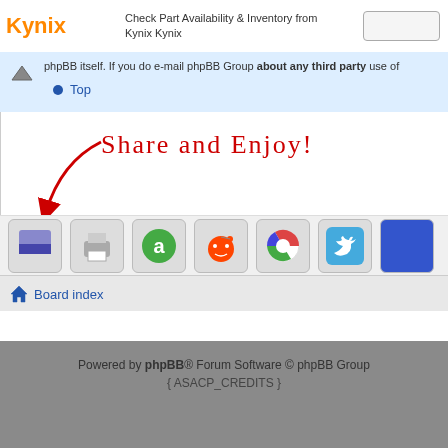Check Part Availability & Inventory from Kynix Kynix
phpBB itself. If you do e-mail phpBB Group about any third party use of
Top
[Figure (illustration): Handwritten red text reading 'SHARE AND ENJOY!' with a curved red arrow pointing down-left toward social sharing icon buttons]
[Figure (infographic): Row of social sharing icon buttons including various social network logos]
Board index
Powered by phpBB® Forum Software © phpBB Group { ASACP_CREDITS }